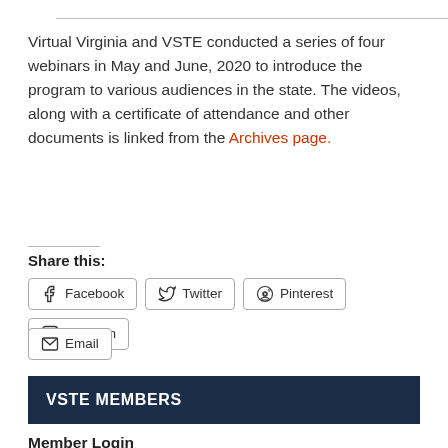Virtual Virginia and VSTE conducted a series of four webinars in May and June, 2020 to introduce the program to various audiences in the state. The videos, along with a certificate of attendance and other documents is linked from the Archives page.
Share this:
Facebook  Twitter  Pinterest  LinkedIn  Email
VSTE MEMBERS
Member Login